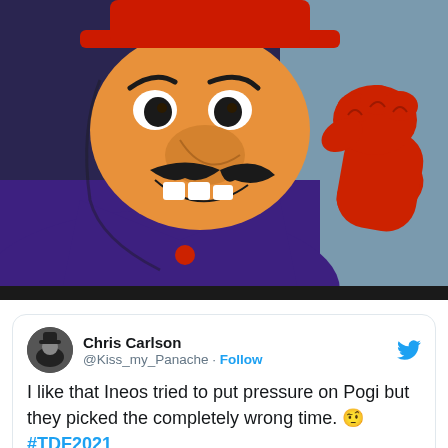[Figure (illustration): Cartoon villain character with an orange face, black mustache, red hat, wearing a purple suit with a red glove raised in a fist. Classic Hanna-Barbera style illustration against a blue-gray background.]
Chris Carlson @Kiss_my_Panache · Follow
I like that Ineos tried to put pressure on Pogi but they picked the completely wrong time. 🤨 #TDF2021
3:42 PM · Jul 4, 2021